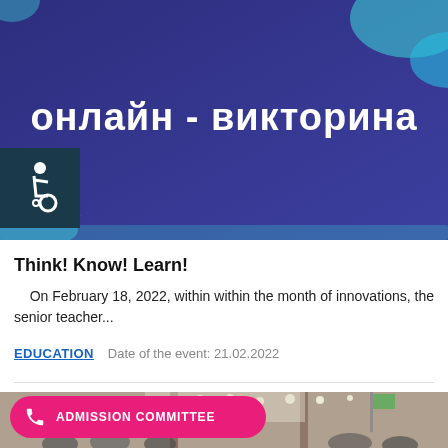[Figure (photo): Dark purple/blue banner with Cyrillic text 'онлайн - викторина' (online quiz) in white bold letters, with decorative teal blob shapes in corners and a small diamond sparkle icon at bottom left. A dark teal accessibility (wheelchair) icon badge is overlaid at the left side.]
Think! Know! Learn!
On February 18, 2022, within within the month of innovations, the senior teacher...
EDUCATION    Date of the event: 21.02.2022
[Figure (photo): Bottom section showing a pink rounded button labeled 'ADMISSION COMMITTEE' with a phone icon, overlaid on a photo of people seated in an auditorium/hall with ceiling lights and a flag visible in background.]